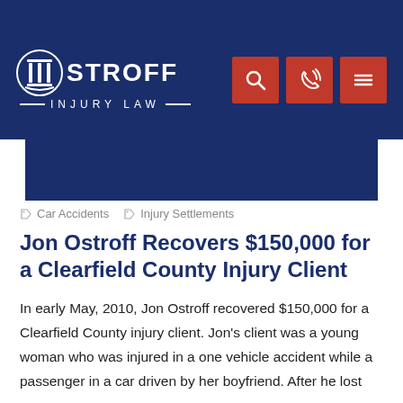[Figure (logo): Ostroff Injury Law logo — white pillar icon with OSTROFF text and INJURY LAW subtext on dark navy background, with red navigation icons (search, phone, menu)]
Car Accidents   Injury Settlements
Jon Ostroff Recovers $150,000 for a Clearfield County Injury Client
In early May, 2010, Jon Ostroff recovered $150,000 for a Clearfield County injury client. Jon's client was a young woman who was injured in a one vehicle accident while a passenger in a car driven by her boyfriend. After he lost